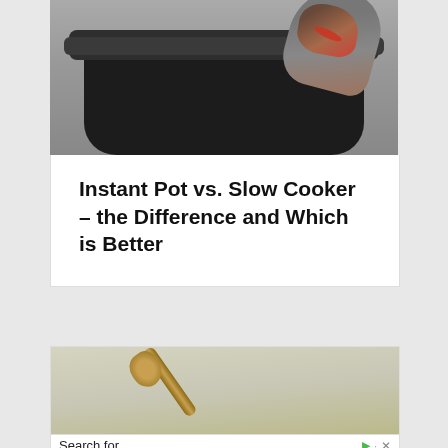[Figure (photo): Photo of a black slow cooker / instant pot with food being spooned out, on a light background]
Instant Pot vs. Slow Cooker – the Difference and Which is Better
[Figure (photo): Partial photo of food with a wooden spoon, broccoli and other vegetables visible]
Search for
01 Top 10 Libido Enhancers